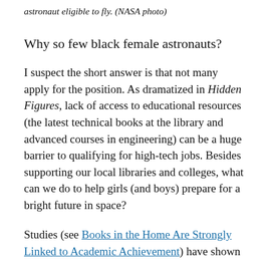astronaut eligible to fly. (NASA photo)
Why so few black female astronauts?
I suspect the short answer is that not many apply for the position. As dramatized in Hidden Figures, lack of access to educational resources (the latest technical books at the library and advanced courses in engineering) can be a huge barrier to qualifying for high-tech jobs. Besides supporting our local libraries and colleges, what can we do to help girls (and boys) prepare for a bright future in space?
Studies (see Books in the Home Are Strongly Linked to Academic Achievement) have shown